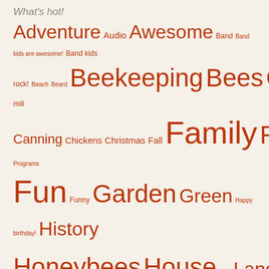What's hot!
Adventure Audio Awesome Band Band kids are awesome! Band kids rock! Beach Beard Beekeeping Bees Cabin Cane mill Canning Chickens Christmas Fall Family Food Free Programs Fun Funny Garden Green Happy birthday! History Honeybees House Kids Land Nature Ouch Proud Recipe Running...without being chased School Soccer Sorghum Spring Swarms Tae kwon do Technology Thoughts Tinkering WV WV kicks ass!
Archives
September 2020 (1)
July 2020 (1)